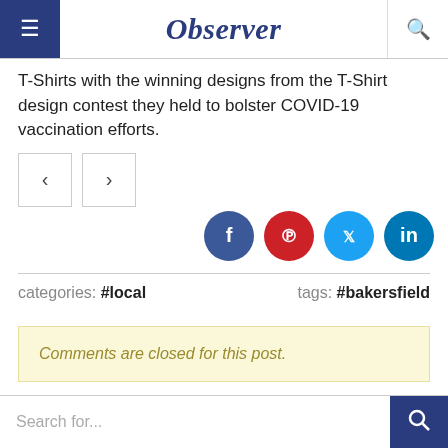Observer
T-Shirts with the winning designs from the T-Shirt design contest they held to bolster COVID-19 vaccination efforts.
categories: #local    tags: #bakersfield
Comments are closed for this post.